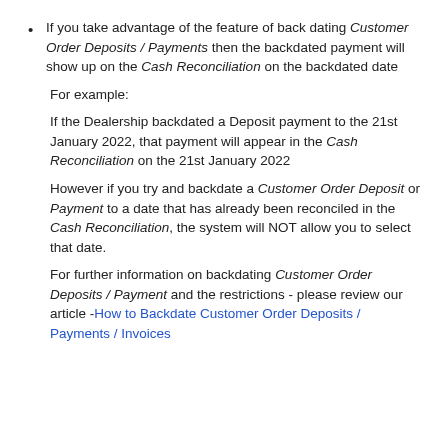If you take advantage of the feature of back dating Customer Order Deposits / Payments then the backdated payment will show up on the Cash Reconciliation on the backdated date
For example:
If the Dealership backdated a Deposit payment to the 21st January 2022, that payment will appear in the Cash Reconciliation on the 21st January 2022
However if you try and backdate a Customer Order Deposit or Payment to a date that has already been reconciled in the Cash Reconciliation, the system will NOT allow you to select that date.
For further information on backdating Customer Order Deposits / Payment and the restrictions - please review our article - How to Backdate Customer Order Deposits / Payments / Invoices